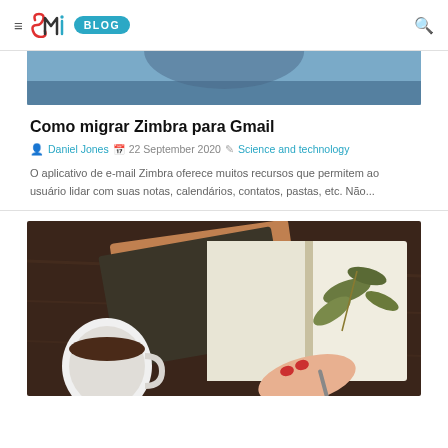≡ SMi BLOG 🔍
[Figure (photo): Top cropped photo showing a person in a dark or neutral-toned background, partially visible]
Como migrar Zimbra para Gmail
Daniel Jones  22 September 2020  Science and technology
O aplicativo de e-mail Zimbra oferece muitos recursos que permitem ao usu&aacute;rio lidar com suas notas, calend&aacute;rios, contatos, pastas, etc. N&atilde;o...
[Figure (photo): Overhead shot of notebooks, a cup of coffee, and a hand writing with a pen on an open notebook with a green leaf/plant placed on it, on a dark wooden table]